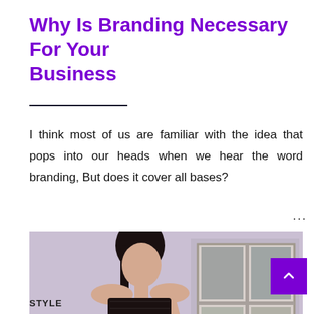Why Is Branding Necessary For Your Business
I think most of us are familiar with the idea that pops into our heads when we hear the word branding, But does it cover all bases? ...
[Figure (photo): A young woman with dark hair wearing a black strapless leather top and white skirt, posing against a light purple/lavender wall with a white window in the background.]
STYLE